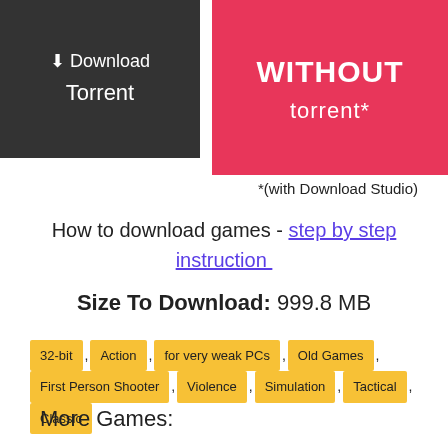[Figure (screenshot): Two download buttons side by side: left dark grey button with download icon and 'Torrent' text, right pink/red button with 'WITHOUT torrent*' text]
*(with Download Studio)
How to download games - step by step instruction
Size To Download: 999.8 MB
32-bit , Action , for very weak PCs , Old Games , First Person Shooter , Violence , Simulation , Tactical , Classic
More Games: